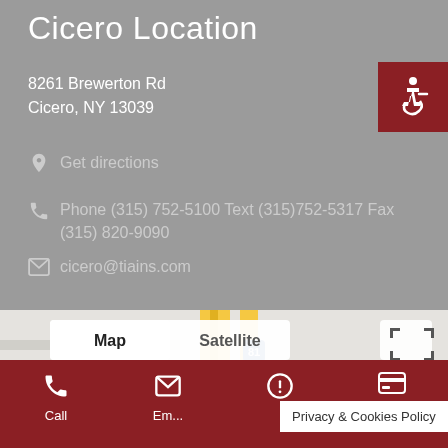Cicero Location
8261 Brewerton Rd
Cicero, NY 13039
Get directions
Phone (315) 752-5100 Text (315)752-5317 Fax (315) 820-9090
cicero@tiains.com
[Figure (screenshot): Google Maps screenshot showing Cicero area with Map/Satellite toggle, Messenger icon, and Tanner Insurance Agency popup showing address 8261 Brewerton Rd]
Call  Em...  Privacy & Cookies Policy  Payments